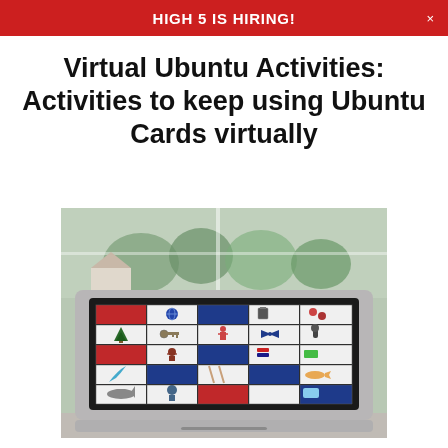HIGH 5 IS HIRING!
Virtual Ubuntu Activities: Activities to keep using Ubuntu Cards virtually
[Figure (photo): A laptop computer displaying a grid of colorful cards (red, blue, white) with small object images on the screen, placed on a desk in front of a window with outdoor trees visible in the background.]